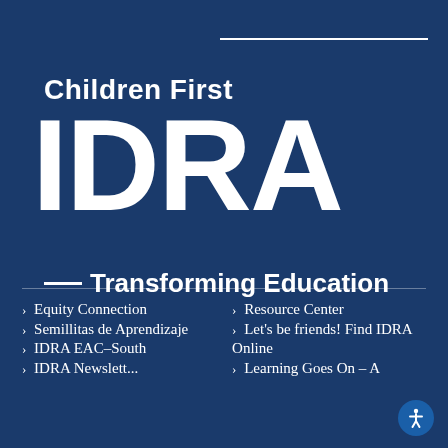Children First IDRA — Transforming Education
› Equity Connection
› Resource Center
› Semillitas de Aprendizaje
› Let's be friends! Find IDRA Online
› IDRA EAC–South
› Learning Goes On – A…